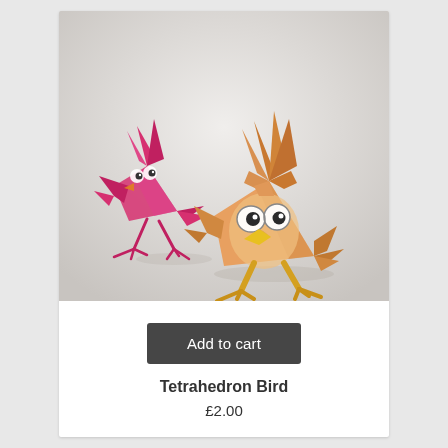[Figure (photo): Two paper craft tetrahedron birds. In the foreground, an orange/tan bird with yellow legs, feathered head crest, large cartoon eyes, and a yellow beak. In the background, a smaller pink/magenta bird of the same design with similar features. Both stand on a white surface.]
Add to cart
Tetrahedron Bird
£2.00